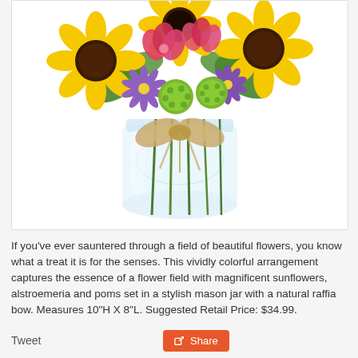[Figure (photo): A colorful flower arrangement in a glass mason jar with a natural raffia bow, featuring sunflowers, alstroemeria, and green poms against a white background.]
If you've ever sauntered through a field of beautiful flowers, you know what a treat it is for the senses. This vividly colorful arrangement captures the essence of a flower field with magnificent sunflowers, alstroemeria and poms set in a stylish mason jar with a natural raffia bow. Measures 10"H X 8"L. Suggested Retail Price: $34.99.
Tweet
Share